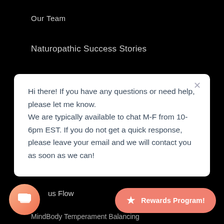Our Team
Naturopathic Success Stories
Hi there! If you have any questions or need help, please let me know.
We are typically available to chat M-F from 10-6pm EST. If you do not get a quick response, please leave your email and we will contact you as soon as we can!
us Flow
Rewards Program!
MindBody Temperament Balancing